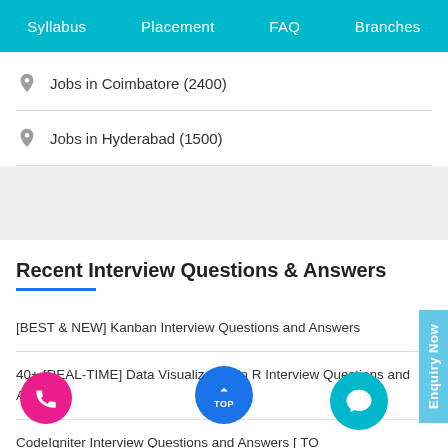Syllabus  Placement  FAQ  Branches
Jobs in Coimbatore (2400)
Jobs in Hyderabad (1500)
Recent Interview Questions & Answers
[BEST & NEW] Kanban Interview Questions and Answers
40+ [REAL-TIME] Data Visualization in R Interview Questions and Answers
CodeIgniter Interview Questions and Answers [ TO RED ]